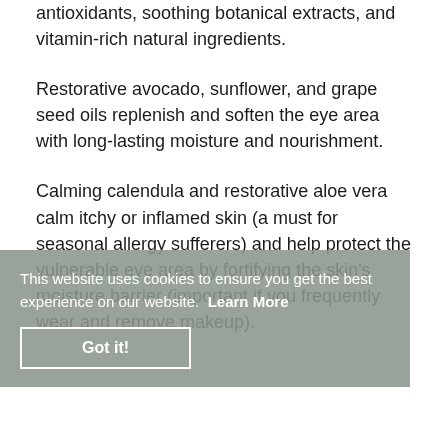antioxidants, soothing botanical extracts, and vitamin-rich natural ingredients.
Restorative avocado, sunflower, and grape seed oils replenish and soften the eye area with long-lasting moisture and nourishment.
Calming calendula and restorative aloe vera calm itchy or inflamed skin (a must for seasonal allergy sufferers) and help protect the vulnerable eye area by fortifying the skin's moisture barrier (important if you frequently wear and remove makeup).
This website uses cookies to ensure you get the best experience on our website. Learn More
Got it!
Botanical extracts of tomato, white tea,